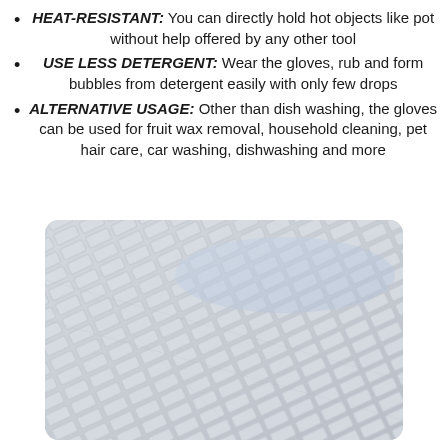HEAT-RESISTANT: You can directly hold hot objects like pot without help offered by any other tool
USE LESS DETERGENT: Wear the gloves, rub and form bubbles from detergent easily with only few drops
ALTERNATIVE USAGE: Other than dish washing, the gloves can be used for fruit wax removal, household cleaning, pet hair care, car washing, dishwashing and more
[Figure (photo): Close-up photo of a textured rubber or silicone glove surface showing a grid/diamond pattern in light grey/white tones with a slight blue tint in the upper area]